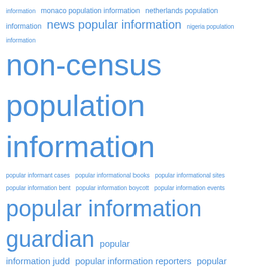[Figure (infographic): Word cloud with terms related to 'population information'. Words are displayed in various sizes in blue color on white background. Larger words include 'non-census population information', 'popular information guardian', 'popular order information', 'populating media information', 'population information game', 'sarasota population information', 'spain population information', 'supervised population information', and 'uptown'. Smaller words include 'monaco population information', 'netherlands population information', 'news popular information', 'nigeria population information', 'popular informant cases', 'popular informational books', 'popular informational sites', 'popular information bent', 'popular information boycott', 'popular information events', 'popular information judd', 'popular information reporters', 'popular information trend', 'popular information twitter', 'popular sandwich informally', 'populate information excel', 'populate information meaning', 'population information crossword', 'population information program', 'switzerland population information', 'tasmania population information'.]